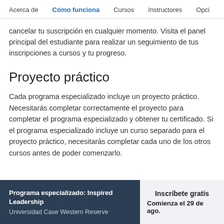Acerca de | Cómo funciona | Cursos | Instructores | Opci
cancelar tu suscripción en cualquier momento. Visita el panel principal del estudiante para realizar un seguimiento de tus inscripciones a cursos y tu progreso.
Proyecto práctico
Cada programa especializado incluye un proyecto práctico. Necesitarás completar correctamente el proyecto para completar el programa especializado y obtener tu certificado. Si el programa especializado incluye un curso separado para el proyecto práctico, necesitarás completar cada uno de los otros cursos antes de poder comenzarlo.
Programa especializado: Inspired Leadership | Universidad Case Western Reserve | Inscríbete gratis | Comienza el 29 de ago.